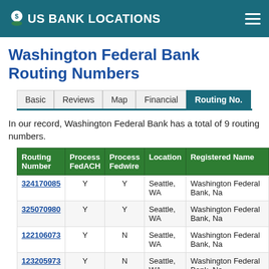US BANK LOCATIONS
Washington Federal Bank Routing Numbers
In our record, Washington Federal Bank has a total of 9 routing numbers.
| Routing Number | Process FedACH | Process Fedwire | Location | Registered Name |
| --- | --- | --- | --- | --- |
| 324170085 | Y | Y | Seattle, WA | Washington Federal Bank, Na |
| 325070980 | Y | Y | Seattle, WA | Washington Federal Bank, Na |
| 122106073 | Y | N | Seattle, WA | Washington Federal Bank, Na |
| 123205973 | Y | N | Seattle, WA | Washington Federal Bank, Na |
| 123206367 | Y | N | Seattle, WA | Washington Federal Bank, Na |